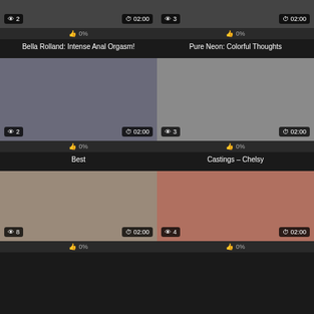[Figure (screenshot): Video thumbnail grid showing adult video titles with view counts, durations, and ratings]
Bella Rolland: Intense Anal Orgasm!
Pure Neon: Colorful Thoughts
Best
Castings – Chelsy